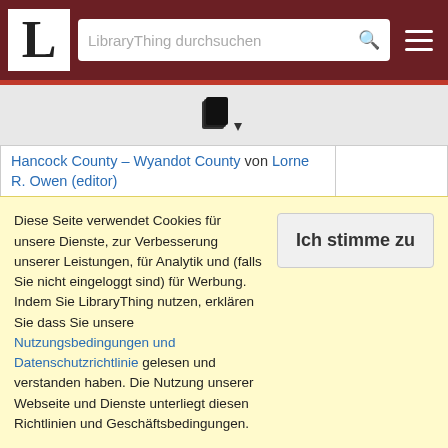LibraryThing durchsuchen
[Figure (logo): LibraryThing logo with large letter L and book icon]
| Titel |  |
| --- | --- |
| Hancock County – Wyandot County von Lorne R. Owen (editor) |  |
| A Different Kind of Heaven von Tammy Shuttlesworth |  |
| Dining in Historic Ohio: A Restaurant Guide With Recipes von Marty Godbey |  |
| Dino von Nick Tosches |  |
| Disconnect Eli von David Bah… |  |
Diese Seite verwendet Cookies für unsere Dienste, zur Verbesserung unserer Leistungen, für Analytik und (falls Sie nicht eingeloggt sind) für Werbung. Indem Sie LibraryThing nutzen, erklären Sie dass Sie unsere Nutzungsbedingungen und Datenschutzrichtlinie gelesen und verstanden haben. Die Nutzung unserer Webseite und Dienste unterliegt diesen Richtlinien und Geschäftsbedingungen.